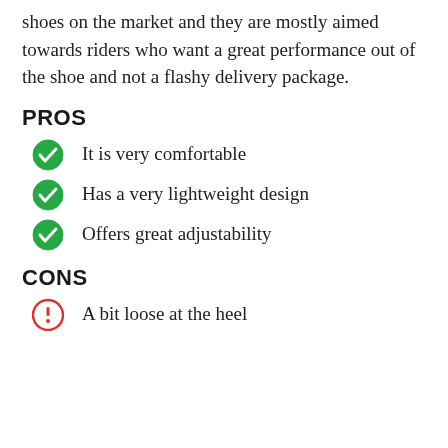shoes on the market and they are mostly aimed towards riders who want a great performance out of the shoe and not a flashy delivery package.
PROS
It is very comfortable
Has a very lightweight design
Offers great adjustability
CONS
A bit loose at the heel